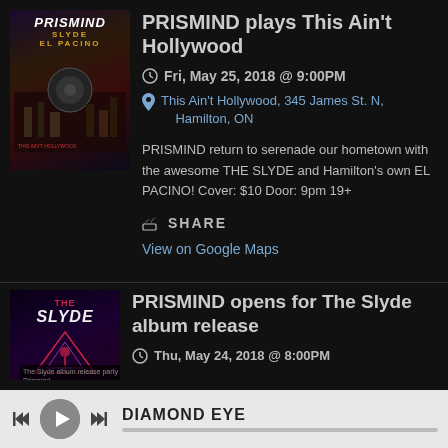[Figure (illustration): PRISMIND album/event poster with text PRISMIND, SLYDE, EL PACINO on dark background with cityscape]
PRISMIND plays This Ain't Hollywood
Fri, May 25, 2018 @ 9:00PM
This Ain't Hollywood, 345 James St. N, Hamilton, ON
PRISMIND return to serenade our hometown with the awesome THE SLYDE and Hamilton's own EL PACINO! Cover: $10 Door: 9pm 19+
SHARE
View on Google Maps
[Figure (illustration): The Slyde album cover with THE SLYDE text on dark purple background with triangle/figure graphic]
PRISMIND opens for The Slyde album release
Thu, May 24, 2018 @ 8:00PM
DIAMOND EYE